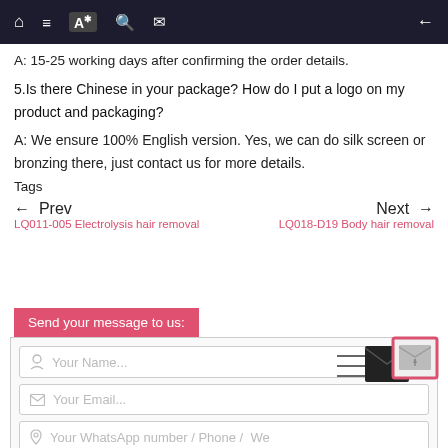[Navigation bar with home, list, translate, search, mail icons and back arrow]
A: 15-25 working days after confirming the order details.
5.Is there Chinese in your package? How do I put a logo on my product and packaging?
A: We ensure 100% English version. Yes, we can do silk screen or bronzing there, just contact us for more details.
Tags 
← Prev
LQ011-005 Electrolysis hair removal
Next →
LQ018-D19 Body hair removal
Send your message to us:
Your Name...
Your Email...
Your WhatsApp number / Phone / We
[Figure (illustration): Mail/envelope icon with speed lines suggesting sending, overlaid with a highlighted envelope icon in a pink-bordered square]